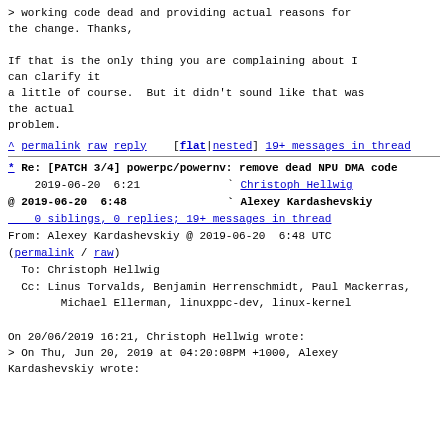> working code dead and providing actual reasons for the change. Thanks,

If that is the only thing you are complaining about I can clarify it
a little of course.  But it didn't sound like that was the actual
problem.
^ permalink raw reply   [flat|nested] 19+ messages in thread
* Re: [PATCH 3/4] powerpc/powernv: remove dead NPU DMA code
2019-06-20  6:21                 ` Christoph Hellwig
@ 2019-06-20  6:48               ` Alexey Kardashevskiy
  0 siblings, 0 replies; 19+ messages in thread
From: Alexey Kardashevskiy @ 2019-06-20  6:48 UTC
(permalink / raw)
  To: Christoph Hellwig
  Cc: Linus Torvalds, Benjamin Herrenschmidt, Paul Mackerras,
        Michael Ellerman, linuxppc-dev, linux-kernel
On 20/06/2019 16:21, Christoph Hellwig wrote:
> On Thu, Jun 20, 2019 at 04:20:08PM +1000, Alexey Kardashevskiy wrote: